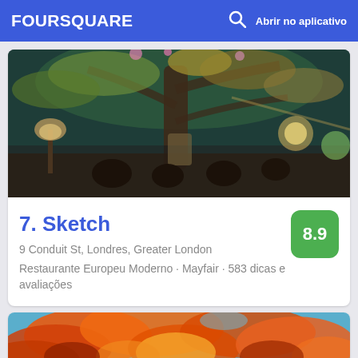FOURSQUARE   🔍   Abrir no aplicativo
[Figure (photo): Interior of Sketch restaurant in London with ornate floral ceiling mural, atmospheric lighting with standing lamps, and diners seated at tables.]
7. Sketch
8.9
9 Conduit St, Londres, Greater London
Restaurante Europeu Moderno · Mayfair · 583 dicas e avaliações
[Figure (photo): Autumn leaves in orange and red tones viewed from below against a blue sky.]